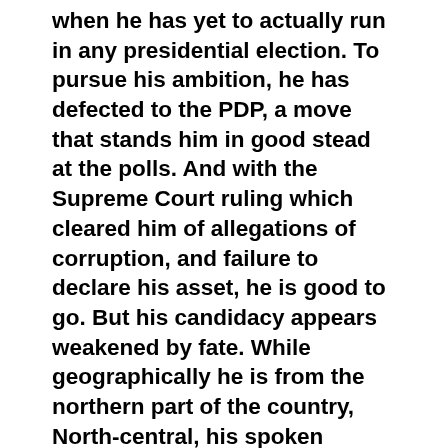when he has yet to actually run in any presidential election. To pursue his ambition, he has defected to the PDP, a move that stands him in good stead at the polls. And with the Supreme Court ruling which cleared him of allegations of corruption, and failure to declare his asset, he is good to go. But his candidacy appears weakened by fate. While geographically he is from the northern part of the country, North-central, his spoken language is South-west (Yoruba). Politics, as they, say is local. Either way he presents himself to the electorate, northerner or southerner, he is bound to face a tough challenge of navigating the ethnicity barrier. Even more complicated for him is where he picks his running mate from. If he picks from